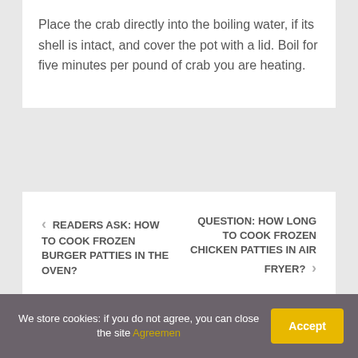Place the crab directly into the boiling water, if its shell is intact, and cover the pot with a lid. Boil for five minutes per pound of crab you are heating.
< READERS ASK: HOW TO COOK FROZEN BURGER PATTIES IN THE OVEN?
QUESTION: HOW LONG TO COOK FROZEN CHICKEN PATTIES IN AIR FRYER? >
We store cookies: if you do not agree, you can close the site Agreemen  Accept